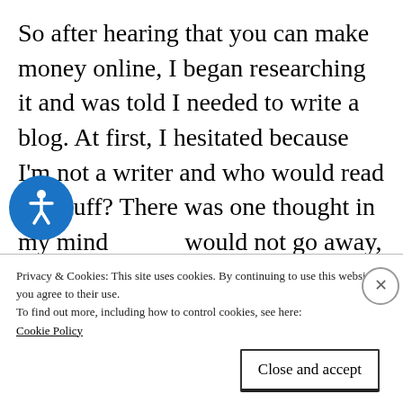So after hearing that you can make money online, I began researching it and was told I needed to write a blog. At first, I hesitated because I'm not a writer and who would read my stuff? There was one thought in my mind would not go away, It's not about me, it's about you. It's about you, the 7.8 billion people in the world. If somebody can take away just one thing from one of my blog posts and it
Privacy & Cookies: This site uses cookies. By continuing to use this website, you agree to their use.
To find out more, including how to control cookies, see here: Cookie Policy